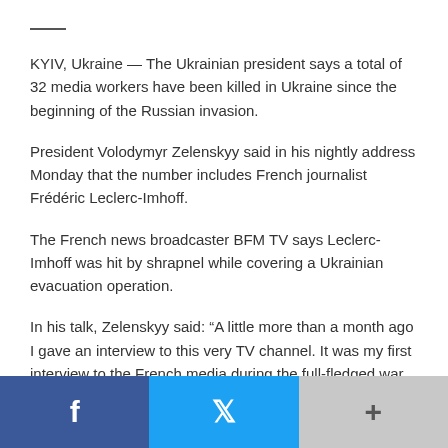KYIV, Ukraine — The Ukrainian president says a total of 32 media workers have been killed in Ukraine since the beginning of the Russian invasion.
President Volodymyr Zelenskyy said in his nightly address Monday that the number includes French journalist Frédéric Leclerc-Imhoff.
The French news broadcaster BFM TV says Leclerc-Imhoff was hit by shrapnel while covering a Ukrainian evacuation operation.
In his talk, Zelenskyy said: “A little more than a month ago I gave an interview to this very TV channel. It was my first interview to the French media during the full-fledged war. My sincere condolences to colleagues and family of Frédéric.”